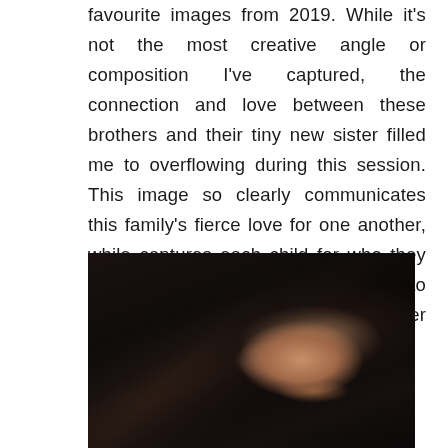favourite images from 2019. While it's not the most creative angle or composition I've captured, the connection and love between these brothers and their tiny new sister filled me to overflowing during this session. This image so clearly communicates this family's fierce love for one another, while captures each child for who they are. This image brought their mama to tears when I shared it with her, and her love for it in turn brought me to tears!
[Figure (photo): Close-up photograph of a woman with dark hair, eyes closed or looking down, face partially visible against a very dark background.]